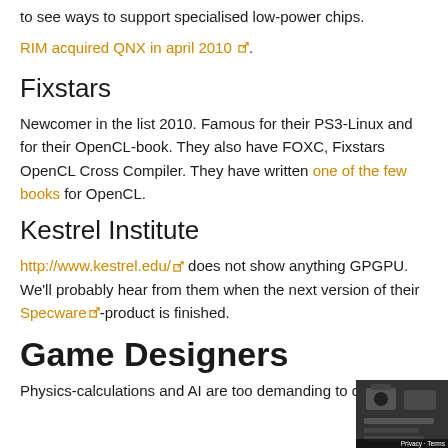to see ways to support specialised low-power chips.
RIM acquired QNX in april 2010 [link].
Fixstars
Newcomer in the list 2010. Famous for their PS3-Linux and for their OpenCL-book. They also have FOXC, Fixstars OpenCL Cross Compiler. They have written one of the few books for OpenCL.
Kestrel Institute
http://www.kestrel.edu/ [link] does not show anything GPGPU. We'll probably hear from them when the next version of their Specware [link]-product is finished.
Game Designers
Physics-calculations and AI are too demanding to do